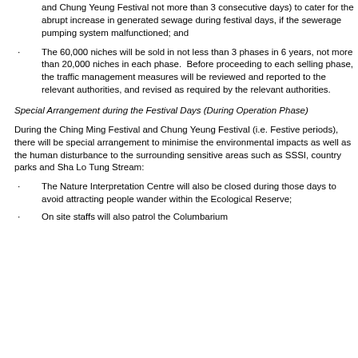and Chung Yeung Festival not more than 3 consecutive days) to cater for the abrupt increase in generated sewage during festival days, if the sewerage pumping system malfunctioned; and
The 60,000 niches will be sold in not less than 3 phases in 6 years, not more than 20,000 niches in each phase.  Before proceeding to each selling phase, the traffic management measures will be reviewed and reported to the relevant authorities, and revised as required by the relevant authorities.
Special Arrangement during the Festival Days (During Operation Phase)
During the Ching Ming Festival and Chung Yeung Festival (i.e. Festive periods), there will be special arrangement to minimise the environmental impacts as well as the human disturbance to the surrounding sensitive areas such as SSSI, country parks and Sha Lo Tung Stream:
The Nature Interpretation Centre will also be closed during those days to avoid attracting people wander within the Ecological Reserve;
On site staffs will also patrol the Columbarium